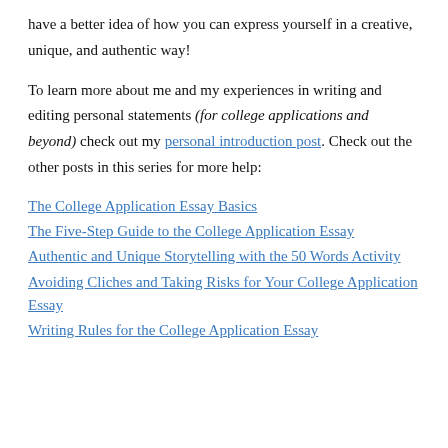have a better idea of how you can express yourself in a creative, unique, and authentic way!
To learn more about me and my experiences in writing and editing personal statements (for college applications and beyond) check out my personal introduction post. Check out the other posts in this series for more help:
The College Application Essay Basics
The Five-Step Guide to the College Application Essay
Authentic and Unique Storytelling with the 50 Words Activity
Avoiding Cliches and Taking Risks for Your College Application Essay
Writing Rules for the College Application Essay